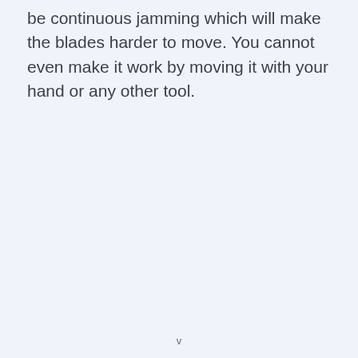be continuous jamming which will make the blades harder to move. You cannot even make it work by moving it with your hand or any other tool.
v